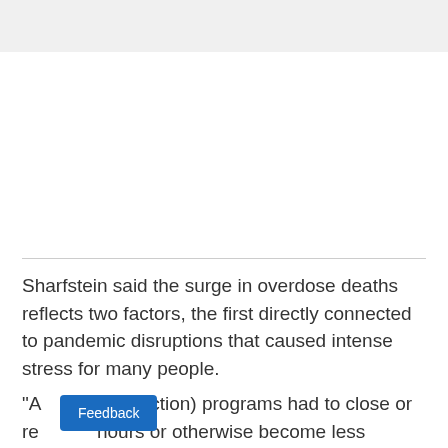Sharfstein said the surge in overdose deaths reflects two factors, the first directly connected to pandemic disruptions that caused intense stress for many people.
"A lot of (drug addiction) programs had to close or reduce hours or otherwise become less